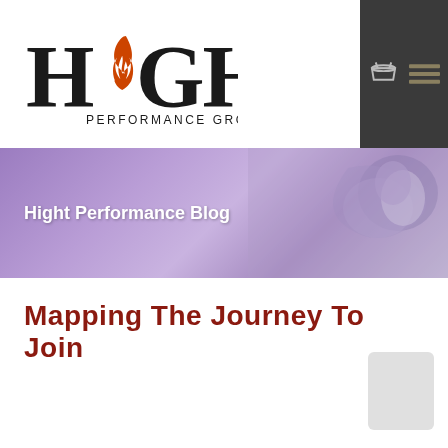[Figure (logo): Hight Performance Group, Inc. logo with flame/lightning bolt icon replacing the 'i' in HIGHT]
[Figure (illustration): Navigation icons: shopping basket and hamburger menu on dark background]
[Figure (photo): Purple banner with rope knot imagery on the right side]
Hight Performance Blog
Mapping The Journey To Join